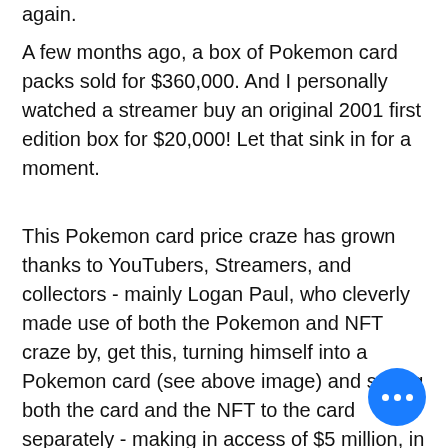again.
A few months ago, a box of Pokemon card packs sold for $360,000. And I personally watched a streamer buy an original 2001 first edition box for $20,000! Let that sink in for a moment.
This Pokemon card price craze has grown thanks to YouTubers, Streamers, and collectors - mainly Logan Paul, who cleverly made use of both the Pokemon and NFT craze by, get this, turning himself into a Pokemon card (see above image) and selling both the card and the NFT to the card separately - making in access of $5 million, in ONE day! *sobs*